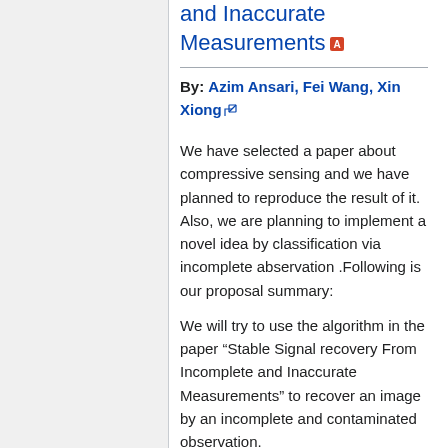and Inaccurate Measurements
By: Azim Ansari, Fei Wang, Xin Xiong
We have selected a paper about compressive sensing and we have planned to reproduce the result of it. Also, we are planning to implement a novel idea by classification via incomplete abservation .Following is our proposal summary:
We will try to use the algorithm in the paper “Stable Signal recovery From Incomplete and Inaccurate Measurements” to recover an image by an incomplete and contaminated observation.